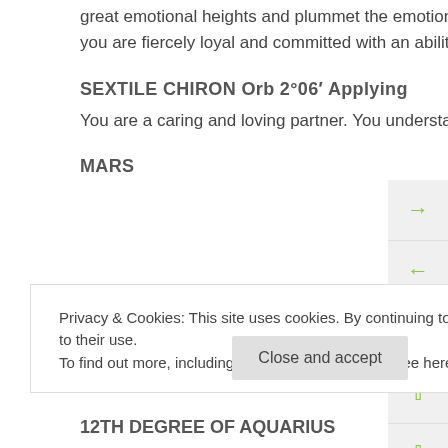great emotional heights and plummet the emotional depths by your side. On a more positive note you are fiercely loyal and committed with an ability to fight any injustice.
SEXTILE CHIRON Orb 2°06′ Applying
You are a caring and loving partner. You understand your partner's struggles.
MARS
Privacy & Cookies: This site uses cookies. By continuing to use this website, you agree to their use.
To find out more, including how to control cookies, see here: Cookie Policy
Close and accept
12TH DEGREE OF AQUARIUS